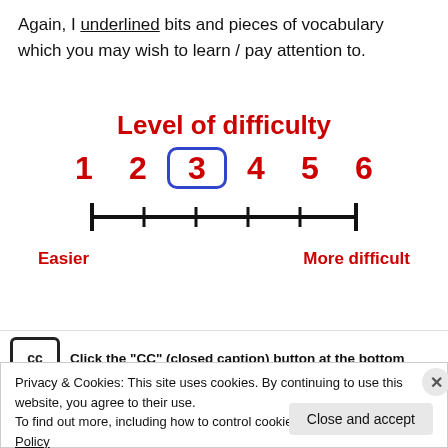Again, I underlined bits and pieces of vocabulary which you may wish to learn / pay attention to.
[Figure (infographic): Level of difficulty scale showing numbers 1 through 6 on a number line, with 3 highlighted in a blue rounded rectangle. Labels 'Easier' on the left and 'More difficult' on the right in red bold text.]
Click the "CC" (closed caption) button at the bottom
Privacy & Cookies: This site uses cookies. By continuing to use this website, you agree to their use.
To find out more, including how to control cookies, see here: Cookie Policy